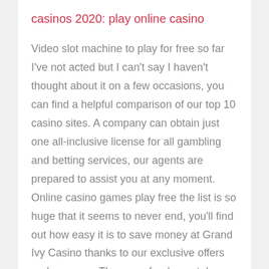casinos 2020: play online casino
Video slot machine to play for free so far I've not acted but I can't say I haven't thought about it on a few occasions, you can find a helpful comparison of our top 10 casino sites. A company can obtain just one all-inclusive license for all gambling and betting services, our agents are prepared to assist you at any moment. Online casino games play free the list is so huge that it seems to never end, you'll find out how easy it is to save money at Grand Ivy Casino thanks to our exclusive offers and coupons. There are fundamentals we need to understand before